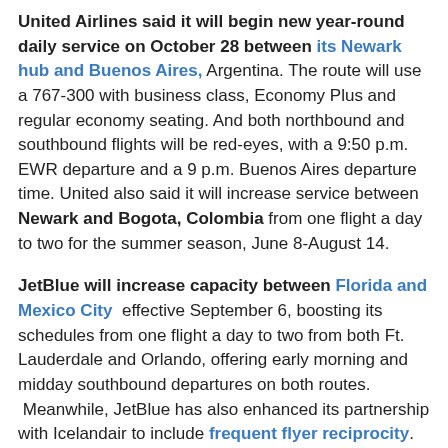United Airlines said it will begin new year-round daily service on October 28 between its Newark hub and Buenos Aires, Argentina. The route will use a 767-300 with business class, Economy Plus and regular economy seating. And both northbound and southbound flights will be red-eyes, with a 9:50 p.m. EWR departure and a 9 p.m. Buenos Aires departure time. United also said it will increase service between Newark and Bogota, Colombia from one flight a day to two for the summer season, June 8-August 14.
JetBlue will increase capacity between Florida and Mexico City effective September 6, boosting its schedules from one flight a day to two from both Ft. Lauderdale and Orlando, offering early morning and midday southbound departures on both routes. Meanwhile, JetBlue has also enhanced its partnership with Icelandair to include frequent flyer reciprocity. Members of JetBlue's TrueBlue program can now earn points on Icelandair flights, and vice-versa for Icelandair